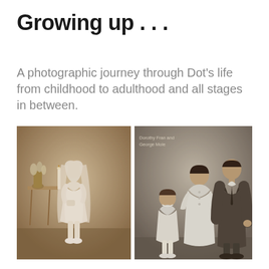Growing up . . .
A photographic journey through Dot’s life from childhood to adulthood and all stages in between.
[Figure (photo): Left: Sepia-toned vintage photograph of a young girl in a white dress and veil, holding a candle, standing beside a small table with a flower vase, likely a First Communion photo. Right: Black and white vintage photograph of three people—a young girl, a teenage girl in white dress, and a young man in a suit—standing together, with handwritten caption reading 'Dorothy Fran and George Mole'.]